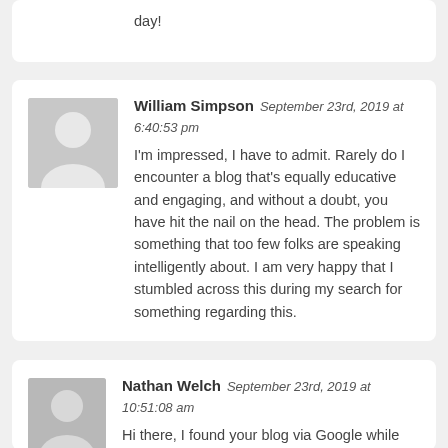day!
William Simpson September 23rd, 2019 at 6:40:53 pm
I'm impressed, I have to admit. Rarely do I encounter a blog that's equally educative and engaging, and without a doubt, you have hit the nail on the head. The problem is something that too few folks are speaking intelligently about. I am very happy that I stumbled across this during my search for something regarding this.
Nathan Welch September 23rd, 2019 at 10:51:08 am
Hi there, I found your blog via Google while looking for a related topic, your web